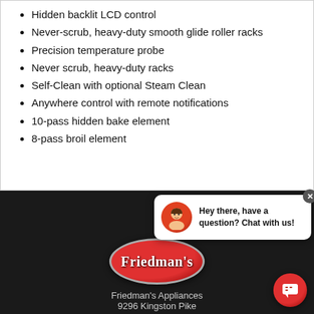Hidden backlit LCD control
Never-scrub, heavy-duty smooth glide roller racks
Precision temperature probe
Never scrub, heavy-duty racks
Self-Clean with optional Steam Clean
Anywhere control with remote notifications
10-pass hidden bake element
8-pass broil element
[Figure (logo): Friedman's appliances logo - red oval with white text]
Friedman's Appliances
9296 Kingston Pike